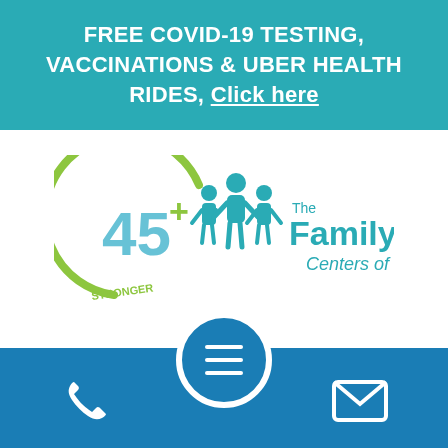FREE COVID-19 TESTING, VACCINATIONS & UBER HEALTH RIDES, Click here
[Figure (logo): The Family Health Centers of Georgia, Inc. logo with 45+ years strong badge]
[Figure (other): Blue bottom navigation bar with phone icon on left, hamburger menu circle in center, and email envelope icon on right]